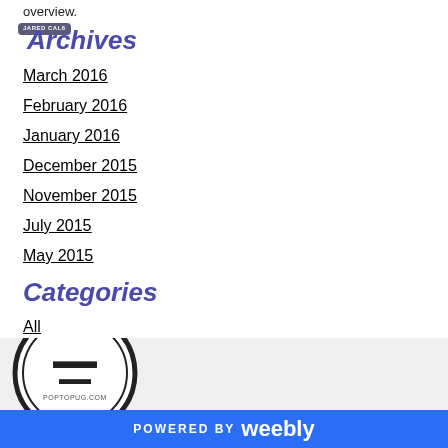overview.
Archives
March 2016
February 2016
January 2016
December 2015
November 2015
July 2015
May 2015
Categories
All
RSS Feed
[Figure (logo): Circular logo badge with mustache icon and poptopug.com text]
POWERED BY weebly